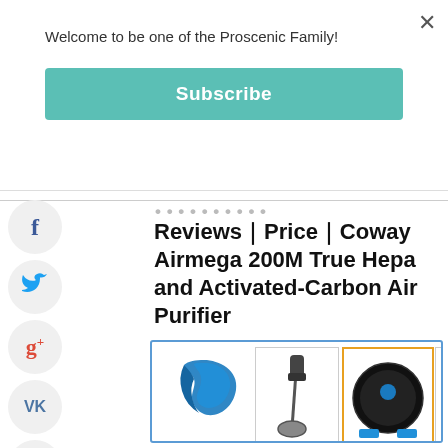Welcome to be one of the Proscenic Family!
Subscribe
Reviews｜Price｜Coway Airmega 200M True Hepa and Activated-Carbon Air Purifier
[Figure (screenshot): Product grid showing Proscenic logo and 4 products: vacuum stick ($239.00), robot vacuum ($258.00, selected/highlighted), air purifier ($129.00), and water dispenser ($35.77)]